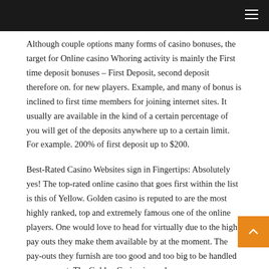Although couple options many forms of casino bonuses, the target for Online casino Whoring activity is mainly the First time deposit bonuses – First Deposit, second deposit therefore on. for new players. Example, and many of bonus is inclined to first time members for joining internet sites. It usually are available in the kind of a certain percentage of you will get of the deposits anywhere up to a certain limit. For example. 200% of first deposit up to $200.
Best-Rated Casino Websites sign in Fingertips: Absolutely yes! The top-rated online casino that goes first within the list is this of Yellow. Golden casino is reputed to are the most highly ranked, top and extremely famous one of the online players. One would love to head for virtually due to the high p... outs they make them available by at the moment. The pay-outs they furnish are too good and too big to be handled on your part. The Golden Casino is run by...